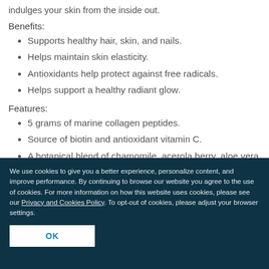indulges your skin from the inside out.
Benefits:
Supports healthy hair, skin, and nails.
Helps maintain skin elasticity.
Antioxidants help protect against free radicals.
Helps support a healthy radiant glow.
Features:
5 grams of marine collagen peptides.
Source of biotin and antioxidant vitamin C.
A botanical blend of chamomile, acerola berry, aloe vera, and goji berry.
We use cookies to give you a better experience, personalize content, and improve performance. By continuing to browse our website you agree to the use of cookies. For more information on how this website uses cookies, please see our Privacy and Cookies Policy. To opt-out of cookies, please adjust your browser settings.
OK